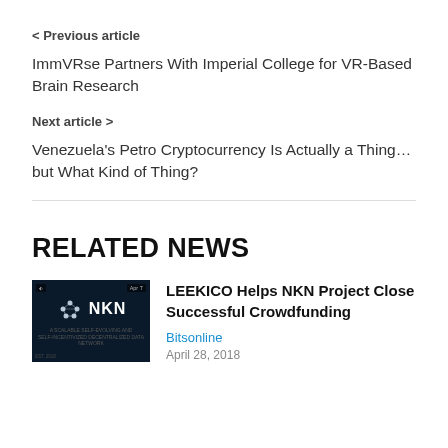< Previous article
ImmVRse Partners With Imperial College for VR-Based Brain Research
Next article >
Venezuela's Petro Cryptocurrency Is Actually a Thing… but What Kind of Thing?
RELATED NEWS
[Figure (photo): Dark background image with NKN logo and text, with 'Apr' date badge in top right corner]
LEEKICO Helps NKN Project Close Successful Crowdfunding
Bitsonline
April 28, 2018